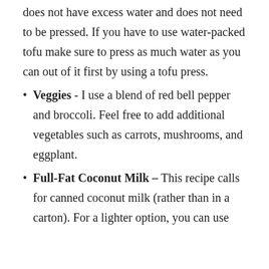does not have excess water and does not need to be pressed. If you have to use water-packed tofu make sure to press as much water as you can out of it first by using a tofu press.
Veggies - I use a blend of red bell pepper and broccoli. Feel free to add additional vegetables such as carrots, mushrooms, and eggplant.
Full-Fat Coconut Milk – This recipe calls for canned coconut milk (rather than in a carton). For a lighter option, you can use